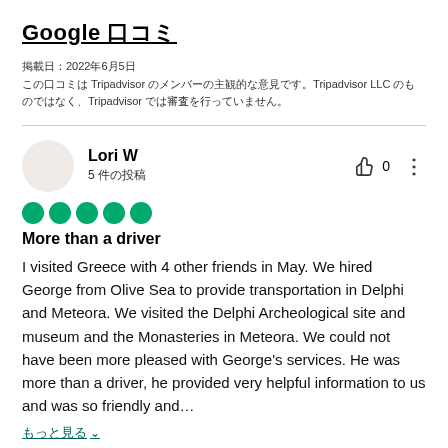Google 口コミ
掲載日：2022年6月5日
この口コミは Tripadvisor のメンバーの主観的な意見です。Tripadvisor LLC のものではなく、Tripadvisor では審査を行っていません。
Lori W
5 件の投稿
[Figure (other): 5 green filled circles representing 5-star rating]
More than a driver
I visited Greece with 4 other friends in May. We hired George from Olive Sea to provide transportation in Delphi and Meteora. We visited the Delphi Archeological site and museum and the Monasteries in Meteora. We could not have been more pleased with George's services. He was more than a driver, he provided very helpful information to us and was so friendly and…
もっと見る